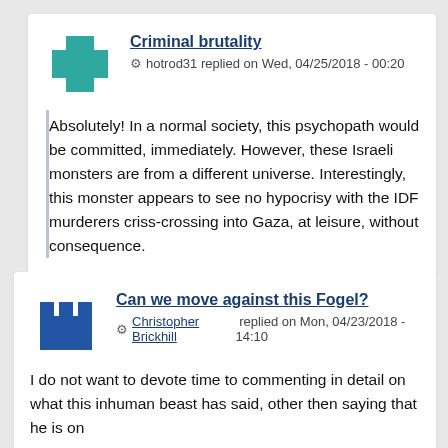Criminal brutality
hotrod31 replied on Wed, 04/25/2018 - 00:20
Absolutely! In a normal society, this psychopath would be committed, immediately. However, these Israeli monsters are from a different universe. Interestingly, this monster appears to see no hypocrisy with the IDF murderers criss-crossing into Gaza, at leisure, without consequence.
Can we move against this Fogel?
Christopher Brickhill replied on Mon, 04/23/2018 - 14:10
I do not want to devote time to commenting in detail on what this inhuman beast has said, other then saying that he is on